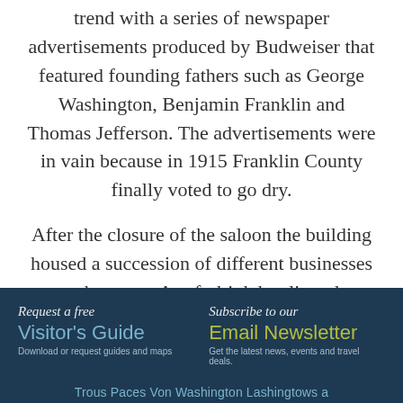trend with a series of newspaper advertisements produced by Budweiser that featured founding fathers such as George Washington, Benjamin Franklin and Thomas Jefferson.  The advertisements were in vain because in 1915 Franklin County finally voted to go dry.
After the closure of the saloon the building housed a succession of different businesses over the years.  A soft drink bottling plant occupied the building during the 1930s, to be
Request a free Visitor's Guide Download or request guides and maps | Subscribe to our Email Newsletter Get the latest news, events and travel deals.